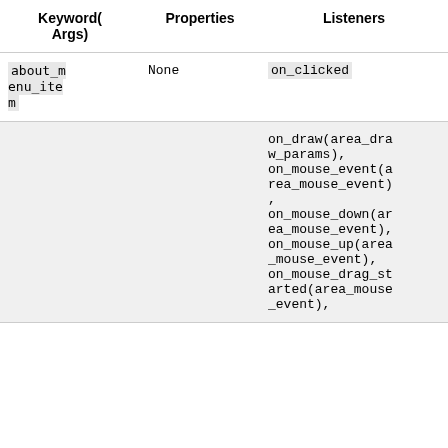| Keyword(Args) | Properties | Listeners |
| --- | --- | --- |
| about_menu_item | None | on_clicked |
|  |  | on_draw(area_draw_params), on_mouse_event(area_mouse_event), on_mouse_down(area_mouse_event), on_mouse_up(area_mouse_event), on_mouse_drag_started(area_mouse_event), |